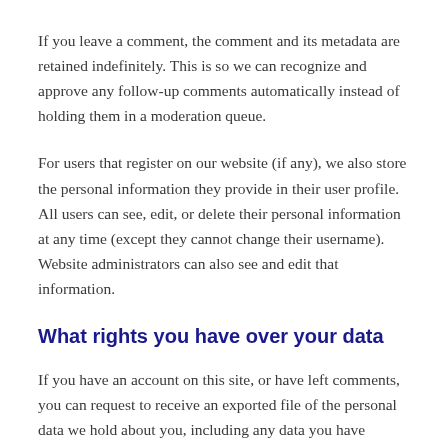If you leave a comment, the comment and its metadata are retained indefinitely. This is so we can recognize and approve any follow-up comments automatically instead of holding them in a moderation queue.
For users that register on our website (if any), we also store the personal information they provide in their user profile. All users can see, edit, or delete their personal information at any time (except they cannot change their username). Website administrators can also see and edit that information.
What rights you have over your data
If you have an account on this site, or have left comments, you can request to receive an exported file of the personal data we hold about you, including any data you have